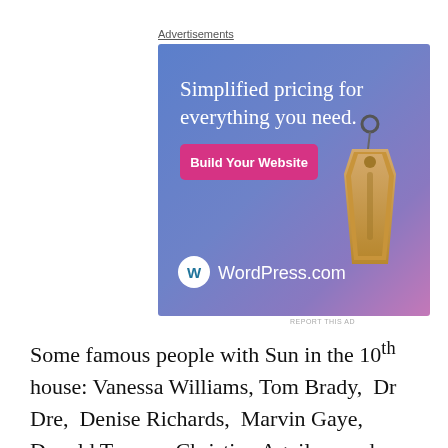Advertisements
[Figure (illustration): WordPress.com advertisement banner with gradient blue-purple-pink background, white text reading 'Simplified pricing for everything you need.', a pink button labeled 'Build Your Website', a hanging price tag illustration, and WordPress.com logo at bottom left.]
REPORT THIS AD
Some famous people with Sun in the 10th house: Vanessa Williams, Tom Brady, Dr Dre, Denise Richards, Marvin Gaye, Donald Trump, Christina Aguilera and Tyga,